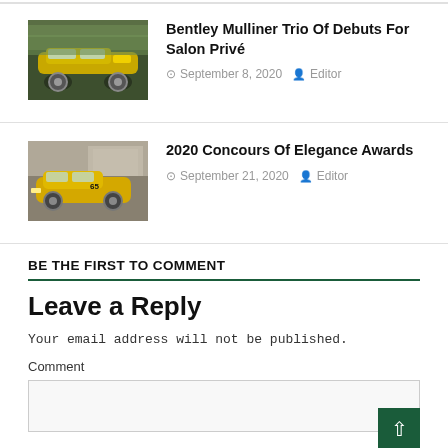[Figure (photo): Yellow Bentley luxury car driving on a road, blurred background]
Bentley Mulliner Trio Of Debuts For Salon Privé
September 8, 2020   Editor
[Figure (photo): Yellow vintage racing car (Porsche-style) parked in front of a building]
2020 Concours Of Elegance Awards
September 21, 2020   Editor
BE THE FIRST TO COMMENT
Leave a Reply
Your email address will not be published.
Comment